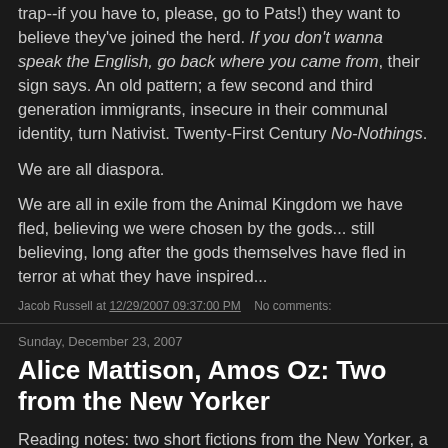trap--if you have to, please, go to Pats!) they want to believe they've joined the herd. If you don't wanna speak the English, go back where you came from, their sign says. An old pattern; a few second and third generation immigrants, insecure in their communal identity, turn Nativist. Twenty-First Century No-Nothings.
We are all diaspora.
We are all in exile from the Animal Kingdom we have fled, believing we were chosen by the gods... still believing, long after the gods themselves have fled in terror at what they have inspired...
Jacob Russell at 12/29/2007 09:37:00 PM   No comments:
Sunday, December 23, 2007
Alice Mattison, Amos Oz: Two from the New Yorker
Reading notes: two short fictions from the New Yorker, a